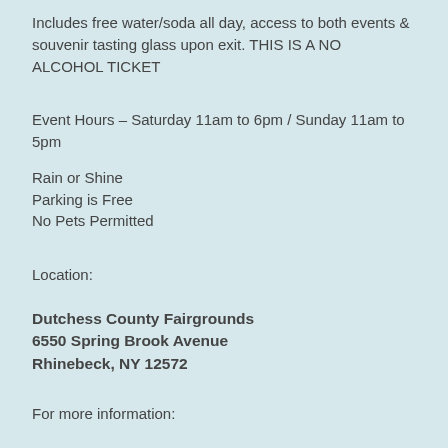Includes free water/soda all day, access to both events & souvenir tasting glass upon exit. THIS IS A NO ALCOHOL TICKET
Event Hours – Saturday 11am to 6pm / Sunday 11am to 5pm
Rain or Shine
Parking is Free
No Pets Permitted
Location:
Dutchess County Fairgrounds
6550 Spring Brook Avenue
Rhinebeck, NY 12572
For more information: